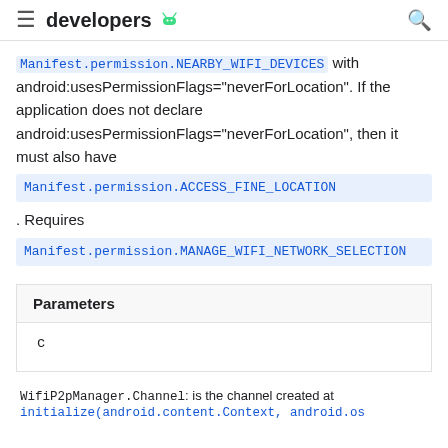developers
Manifest.permission.NEARBY_WIFI_DEVICES with android:usesPermissionFlags="neverForLocation". If the application does not declare android:usesPermissionFlags="neverForLocation", then it must also have Manifest.permission.ACCESS_FINE_LOCATION . Requires Manifest.permission.MANAGE_WIFI_NETWORK_SELECTION
| Parameters |
| --- |
| c |
| WifiP2pManager.Channel: is the channel created at initialize(android.content.Context, android.os |
WifiP2pManager.Channel: is the channel created at initialize(android.content.Context, android.os